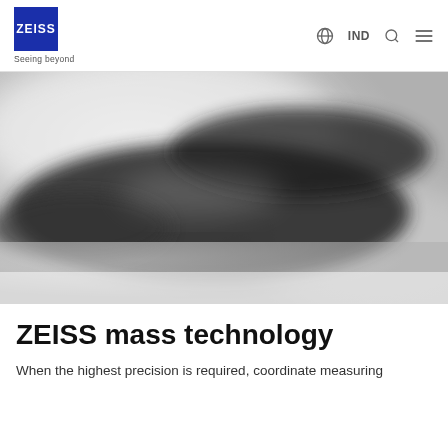[Figure (logo): ZEISS logo — white ZEISS text on blue square background, with 'Seeing beyond' tagline below]
[Figure (photo): Blurred grayscale photograph of a ZEISS coordinate measuring machine (CMM) against a light gray background]
ZEISS mass technology
When the highest precision is required, coordinate measuring machines must meet the most stringent quality standards.